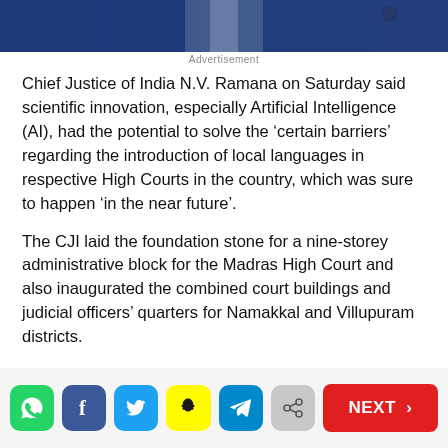[Figure (photo): Top portion of a person in a blue suit jacket, cropped to show shoulders and collar area]
Advertisement
Chief Justice of India N.V. Ramana on Saturday said scientific innovation, especially Artificial Intelligence (AI), had the potential to solve the ‘certain barriers’ regarding the introduction of local languages in respective High Courts in the country, which was sure to happen ‘in the near future’.
The CJI laid the foundation stone for a nine-storey administrative block for the Madras High Court and also inaugurated the combined court buildings and judicial officers’ quarters for Namakkal and Villupuram districts.